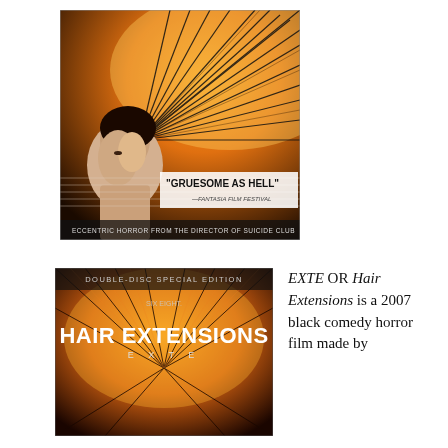[Figure (photo): Movie poster for EXTE / Hair Extensions showing a woman's face with dramatic flowing dark hair radiating outward in orange/black tones. Text reads: 'GRUESOME AS HELL' — FANTASIA FILM FESTIVAL. ECCENTRIC HORROR FROM THE DIRECTOR OF SUICIDE CLUB]
[Figure (photo): DVD cover for Hair Extensions Double-Disc Special Edition showing bold white text HAIR EXTENSIONS on orange/fire background with dark hair strands]
EXTE OR Hair Extensions is a 2007 black comedy horror film made by